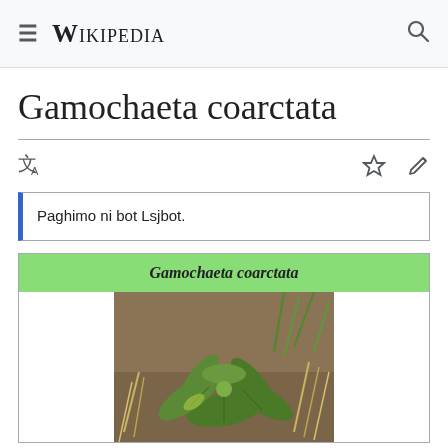Wikipedia
Gamochaeta coarctata
Paghimo ni bot Lsjbot.
[Figure (photo): Photograph of Gamochaeta coarctata plant growing in soil with surrounding dry grass and green leaves]
Gamochaeta coarctata